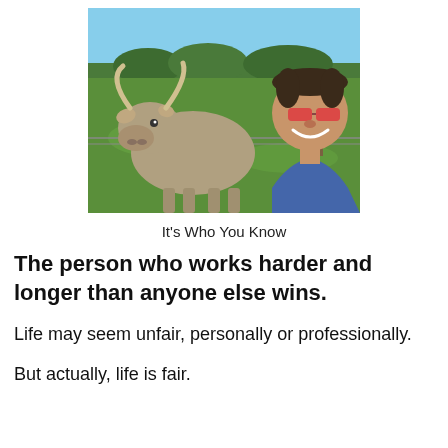[Figure (photo): A man with red sunglasses smiling next to a grey brahman bull/steer at a farm, with green pasture and blue sky in background. Barbed wire fence separates them.]
It's Who You Know
The person who works harder and longer than anyone else wins.
Life may seem unfair, personally or professionally.
But actually, life is fair.